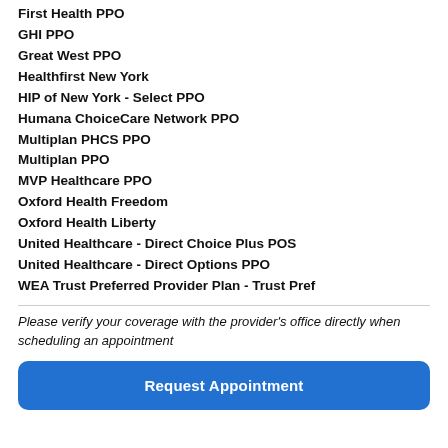First Health PPO
GHI PPO
Great West PPO
Healthfirst New York
HIP of New York - Select PPO
Humana ChoiceCare Network PPO
Multiplan PHCS PPO
Multiplan PPO
MVP Healthcare PPO
Oxford Health Freedom
Oxford Health Liberty
United Healthcare - Direct Choice Plus POS
United Healthcare - Direct Options PPO
WEA Trust Preferred Provider Plan - Trust Pref
Please verify your coverage with the provider's office directly when scheduling an appointment
Request Appointment